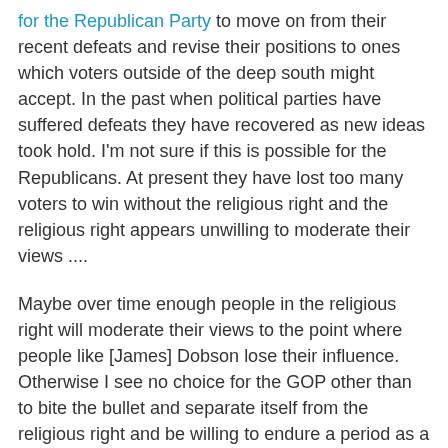for the Republican Party to move on from their recent defeats and revise their positions to ones which voters outside of the deep south might accept. In the past when political parties have suffered defeats they have recovered as new ideas took hold. I'm not sure if this is possible for the Republicans. At present they have lost too many voters to win without the religious right and the religious right appears unwilling to moderate their views ....
Maybe over time enough people in the religious right will moderate their views to the point where people like [James] Dobson lose their influence. Otherwise I see no choice for the GOP other than to bite the bullet and separate itself from the religious right and be willing to endure a period as a minority party while they attempt to rebuild. s long as they are tied to the current views of the religious right the Republican Party will have a tough time surviving as a meaningful party of the 21st century.